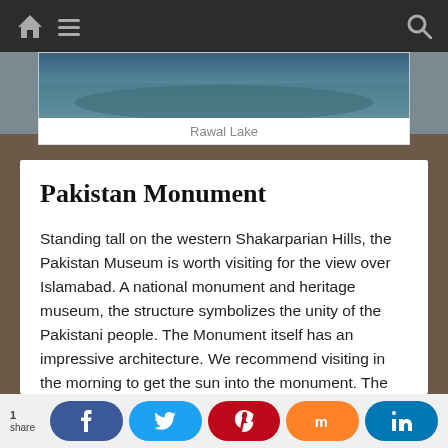Navigation bar with home, menu, and search icons
[Figure (photo): Partially visible photo of Rawal Lake with caption below]
Rawal Lake
Pakistan Monument
Standing tall on the western Shakarparian Hills, the Pakistan Museum is worth visiting for the view over Islamabad. A national monument and heritage museum, the structure symbolizes the unity of the Pakistani people. The Monument itself has an impressive architecture. We recommend visiting in the morning to get the sun into the monument. The Pakistan Monument is popular with Pakistanis who will definitely come to chat with you.
The Pakistan Monument Museum at the lower section of the memorial is said to be rich with Pakistani contemporary art as the page continues
Share bar: Facebook, Twitter, Pinterest, Mix, LinkedIn